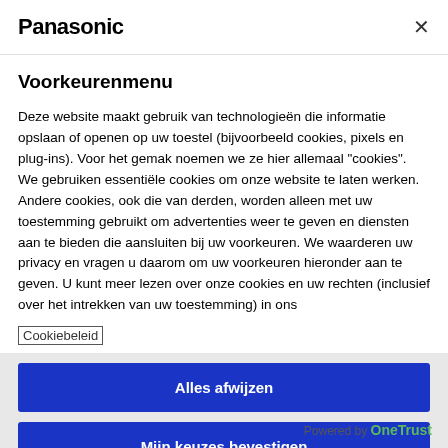[Figure (screenshot): Panasonic logo in top-left of modal header with close X button]
Voorkeurenmenu
Deze website maakt gebruik van technologieën die informatie opslaan of openen op uw toestel (bijvoorbeeld cookies, pixels en plug-ins). Voor het gemak noemen we ze hier allemaal "cookies". We gebruiken essentiële cookies om onze website te laten werken. Andere cookies, ook die van derden, worden alleen met uw toestemming gebruikt om advertenties weer te geven en diensten aan te bieden die aansluiten bij uw voorkeuren. We waarderen uw privacy en vragen u daarom om uw voorkeuren hieronder aan te geven. U kunt meer lezen over onze cookies en uw rechten (inclusief over het intrekken van uw toestemming) in ons
Alles afwijzen
Mijn keuzes bevestigen
Powered by OneTrust